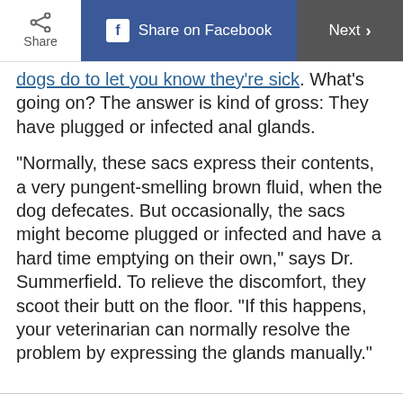Share | Share on Facebook | Next >
dogs do to let you know they’re sick. What’s going on? The answer is kind of gross: They have plugged or infected anal glands.
“Normally, these sacs express their contents, a very pungent-smelling brown fluid, when the dog defecates. But occasionally, the sacs might become plugged or infected and have a hard time emptying on their own,” says Dr. Summerfield. To relieve the discomfort, they scoot their butt on the floor. “If this happens, your veterinarian can normally resolve the problem by expressing the glands manually.”